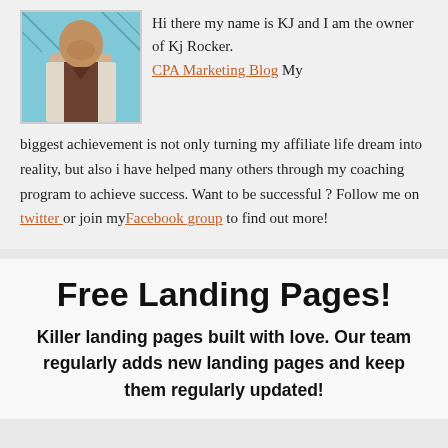[Figure (photo): Photo of a man in a light grey blazer and dark shirt, against a teal/blue patterned background]
Hi there my name is KJ and I am the owner of Kj Rocker. CPA Marketing Blog My biggest achievement is not only turning my affiliate life dream into reality, but also i have helped many others through my coaching program to achieve success. Want to be successful ? Follow me on twitter or join myFacebook group to find out more!
Free Landing Pages!
Killer landing pages built with love. Our team regularly adds new landing pages and keep them regularly updated!